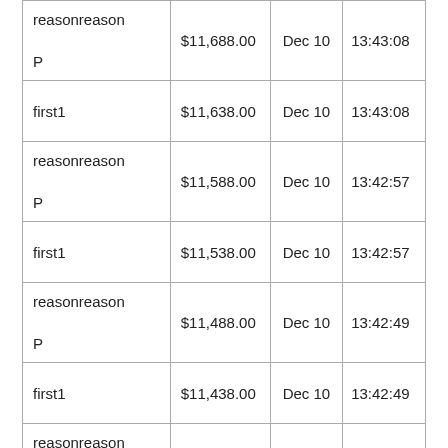| reasonreason

P | $11,688.00 | Dec 10 | 13:43:08 |
| first1 | $11,638.00 | Dec 10 | 13:43:08 |
| reasonreason

P | $11,588.00 | Dec 10 | 13:42:57 |
| first1 | $11,538.00 | Dec 10 | 13:42:57 |
| reasonreason

P | $11,488.00 | Dec 10 | 13:42:49 |
| first1 | $11,438.00 | Dec 10 | 13:42:49 |
| reasonreason

P | $11,388.00 | Dec 10 | 13:42:41 |